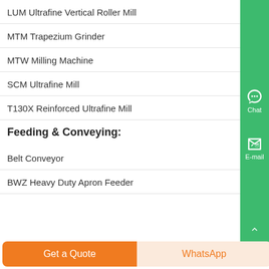LUM Ultrafine Vertical Roller Mill
MTM Trapezium Grinder
MTW Milling Machine
SCM Ultrafine Mill
T130X Reinforced Ultrafine Mill
Feeding & Conveying:
Belt Conveyor
BWZ Heavy Duty Apron Feeder